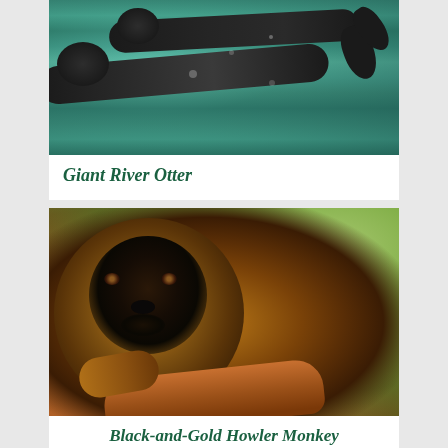[Figure (photo): Two giant river otters swimming underwater in a teal-green aquatic environment, viewed from above/side, their dark elongated bodies visible against the turquoise water.]
Giant River Otter
[Figure (photo): A Black-and-Gold Howler Monkey with brown-golden fur and a dark black face, resting on a wooden log with blurred green foliage in the background.]
Black-and-Gold Howler Monkey